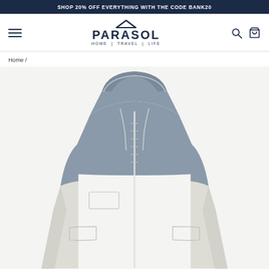SHOP 20% OFF EVERYTHING WITH THE CODE BANK20
[Figure (logo): Parasol Home | Travel | Life logo with roof/house icon above the brand name]
Home /
[Figure (photo): A two-tone zip-up hooded jacket with grey upper section (hood and shoulders) and light beige/off-white lower body, featuring a front zipper and drawstrings on the hood]